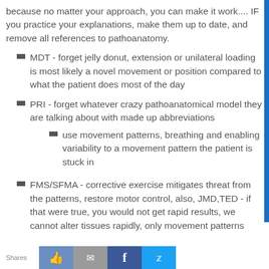because no matter your approach, you can make it work.... IF you practice your explanations, make them up to date, and remove all references to pathoanatomy.
MDT - forget jelly donut, extension or unilateral loading is most likely a novel movement or position compared to what the patient does most of the day
PRI - forget whatever crazy pathoanatomical model they are talking about with made up abbreviations
use movement patterns, breathing and enabling variability to a movement pattern the patient is stuck in
FMS/SFMA - corrective exercise mitigates threat from the patterns, restore motor control, also, JMD,TED - if that were true, you would not get rapid results, we cannot alter tissues rapidly, only movement patterns
Shares [like] [email] [f] [twitter]